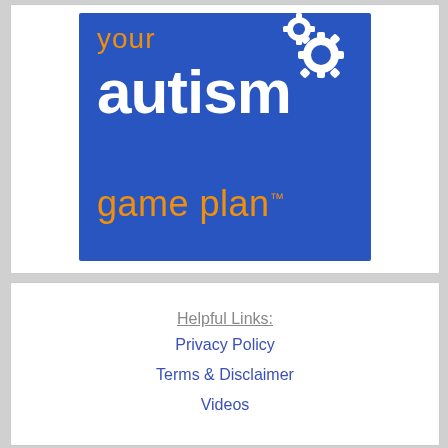[Figure (logo): Your Autism Game Plan logo — blue square background with 'your' in orange, 'autism' in large white bold text, 'game plan' in orange with trademark symbol, and white gear icons in upper right]
Helpful Links:
Privacy Policy
Terms & Disclaimer
Videos